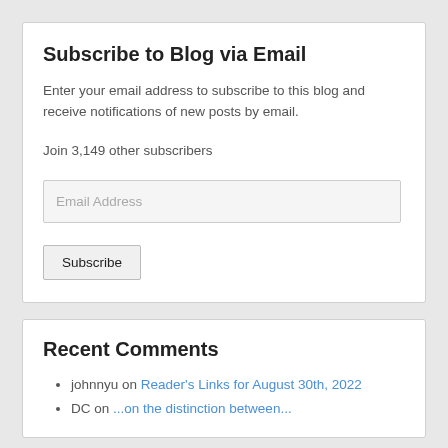Subscribe to Blog via Email
Enter your email address to subscribe to this blog and receive notifications of new posts by email.
Join 3,149 other subscribers
Email Address
Subscribe
Recent Comments
johnnyu on Reader's Links for August 30th, 2022
DC on ...